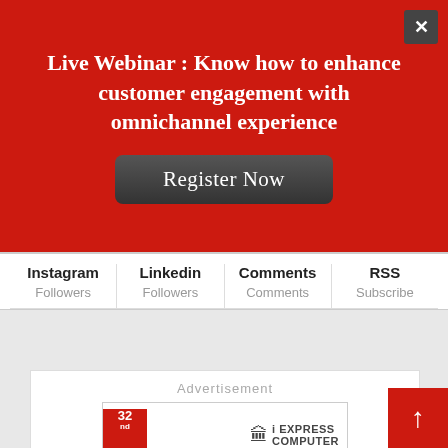[Figure (infographic): Red banner advertisement for Live Webinar about omnichannel customer engagement with Register Now button and close X button]
Live Webinar : Know how to enhance customer engagement with omnichannel experience
Register Now
| Instagram | Linkedin | Comments | RSS |
| --- | --- | --- | --- |
| Followers | Followers | Comments | Subscribe |
Advertisement
[Figure (infographic): Advertisement for Technology Sabha 32nd Edition presented by Intel and Oracle, with iExpress Computer logo and red spiral graphic]